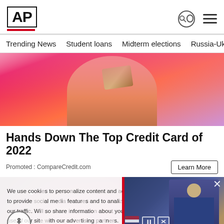AP
Trending News
Student loans
Midterm elections
Russia-Ukr
[Figure (photo): Woman in orange top holding a credit card up near her face against pink background]
Hands Down The Top Credit Card of 2022
Promoted : CompareCredit.com
Learn More
We use cookies to personalize content and ads, to provide social media features and to analyze our traffic. We also share information about your use of our site with our advertising...
Cookies Settings
[Figure (photo): Close-up of hands holding glittery candy/sweets]
[Figure (screenshot): Video popup showing Biden at podium with caption: Student loan forgiveness could help more than 40...]